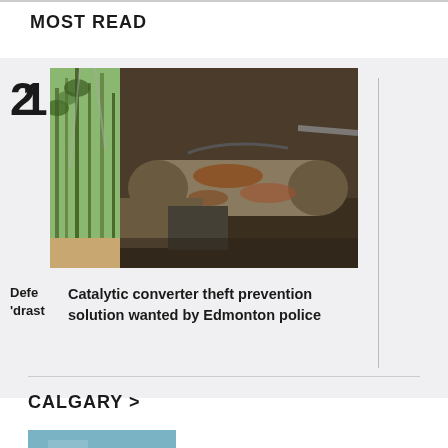MOST READ
[Figure (photo): Catalytic converters and car parts on a ground surface]
Catalytic converter theft prevention solution wanted by Edmonton police
[Figure (photo): Partial view of a park or outdoor area with trees]
Defer 'drast
CALGARY >
[Figure (photo): Partial image at bottom of page]